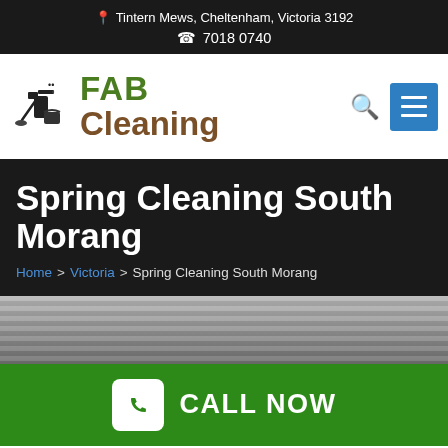📍 Tintern Mews, Cheltenham, Victoria 3192  📞 7018 0740
[Figure (logo): FAB Cleaning logo with spray bottle and cleaning supplies icon. FAB in green, Cleaning in brown.]
Spring Cleaning South Morang
Home > Victoria > Spring Cleaning South Morang
[Figure (photo): Gray toned background image showing window blinds or shutters.]
CALL NOW